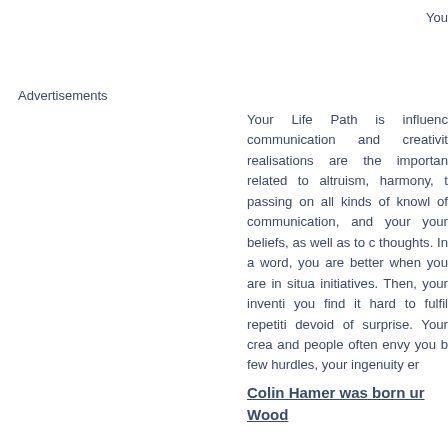You
Advertisements
Your Life Path is influenc communication and creativity realisations are the importan related to altruism, harmony, t passing on all kinds of knowl of communication, and your your beliefs, as well as to c thoughts. In a word, you are better when you are in situa initiatives. Then, your inventi you find it hard to fulfil repetiti devoid of surprise. Your crea and people often envy you b few hurdles, your ingenuity er
Colin Hamer was born ur Wood